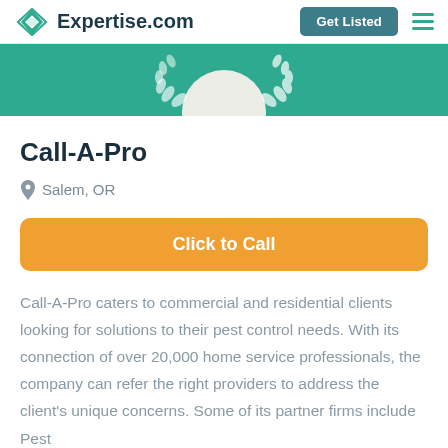Expertise.com | Get Listed
[Figure (illustration): Teal banner with white laurel wreath emblem partially visible at top]
Call-A-Pro
Salem, OR
Click to Call
Call-A-Pro caters to commercial and residential clients looking for solutions to their pest control needs. With its connection of over 20,000 home service professionals, the company can refer the right providers to address the client's unique concerns. Some of its partner firms include Pest